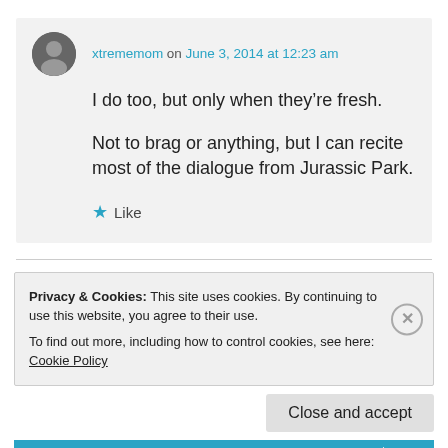xtrememom on June 3, 2014 at 12:23 am
I do too, but only when they're fresh.
Not to brag or anything, but I can recite most of the dialogue from Jurassic Park.
★ Like
Privacy & Cookies: This site uses cookies. By continuing to use this website, you agree to their use. To find out more, including how to control cookies, see here: Cookie Policy
Close and accept